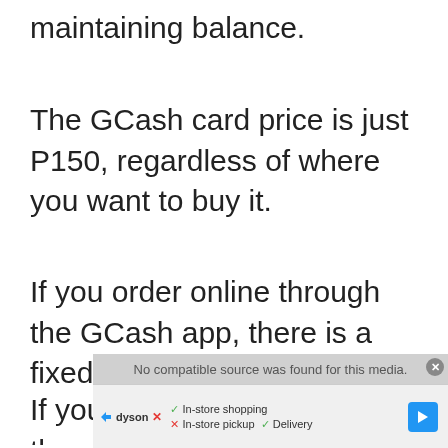maintaining balance.
The GCash card price is just P150, regardless of where you want to buy it.
If you order online through the GCash app, there is a fixed delivery fee of P65.
If you can opt for pick-up, there would
[Figure (other): Advertisement overlay showing 'No compatible source was found for this media' with a Dyson ad below showing in-store shopping, in-store pickup, and delivery options with a navigation arrow icon.]